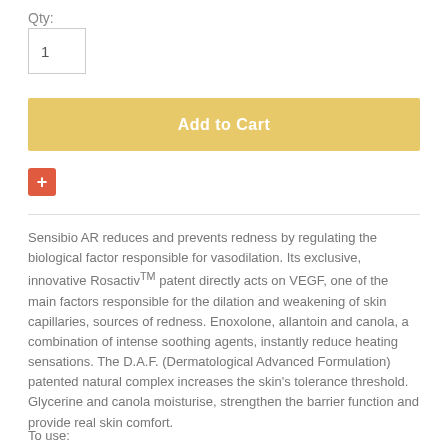Qty:
1
Add to Cart
[Figure (other): Red plus/add button icon]
Sensibio AR reduces and prevents redness by regulating the biological factor responsible for vasodilation. Its exclusive, innovative Rosactiv™ patent directly acts on VEGF, one of the main factors responsible for the dilation and weakening of skin capillaries, sources of redness. Enoxolone, allantoin and canola, a combination of intense soothing agents, instantly reduce heating sensations. The D.A.F. (Dermatological Advanced Formulation) patented natural complex increases the skin's tolerance threshold. Glycerine and canola moisturise, strengthen the barrier function and provide real skin comfort.
To use: